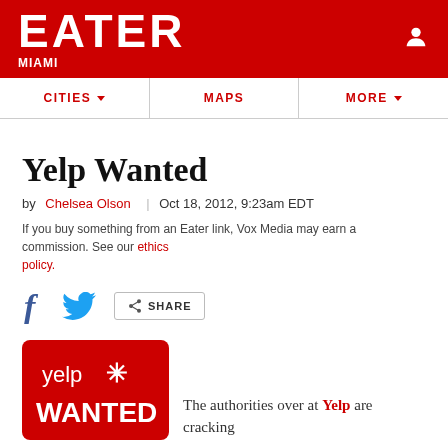EATER MIAMI
CITIES ▼   MAPS   MORE ▼
Yelp Wanted
by Chelsea Olson | Oct 18, 2012, 9:23am EDT
If you buy something from an Eater link, Vox Media may earn a commission. See our ethics policy.
[Figure (logo): Yelp logo on red background with WANTED text below]
The authorities over at Yelp are cracking